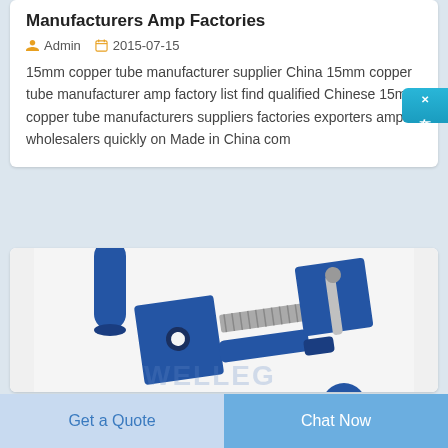Manufacturers Amp Factories
Admin   2015-07-15
15mm copper tube manufacturer supplier China 15mm copper tube manufacturer amp factory list find qualified Chinese 15mm copper tube manufacturers suppliers factories exporters amp wholesalers quickly on Made in China com
[Figure (photo): Blue mechanical hardware components including a cylindrical tube, flat square plates with hole, a bolt/screw assembly with spring, photographed on white background with WELLEG watermark]
Get a Quote
Chat Now